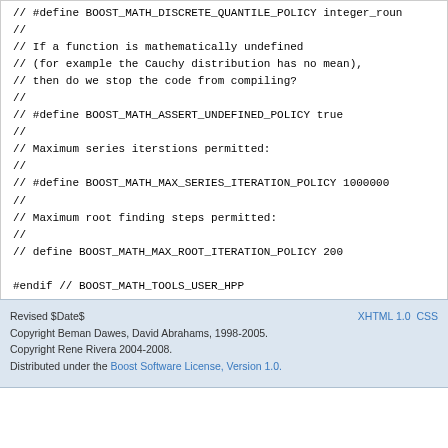// #define BOOST_MATH_DISCRETE_QUANTILE_POLICY integer_roun
//
// If a function is mathematically undefined
// (for example the Cauchy distribution has no mean),
// then do we stop the code from compiling?
//
// #define BOOST_MATH_ASSERT_UNDEFINED_POLICY true
//
// Maximum series iterstions permitted:
//
// #define BOOST_MATH_MAX_SERIES_ITERATION_POLICY 1000000
//
// Maximum root finding steps permitted:
//
// define BOOST_MATH_MAX_ROOT_ITERATION_POLICY 200

#endif // BOOST_MATH_TOOLS_USER_HPP
Revised $Date$
Copyright Beman Dawes, David Abrahams, 1998-2005.
Copyright Rene Rivera 2004-2008.
Distributed under the Boost Software License, Version 1.0.